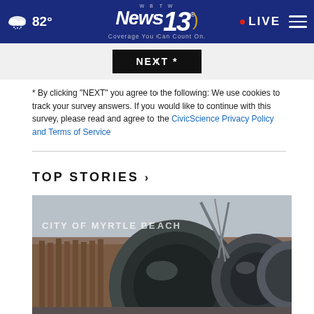82° | WBTW News 13 | Coverage You Can Count On. | LIVE
[Figure (screenshot): NEXT * button (black button with white text)]
* By clicking "NEXT" you agree to the following: We use cookies to track your survey answers. If you would like to continue with this survey, please read and agree to the CivicScience Privacy Policy and Terms of Service
TOP STORIES ›
[Figure (photo): Construction site image showing large cylindrical metal pipes, with 'CITY OF MYRTLE BEACH' watermark text, wooden pylons and construction equipment in background]